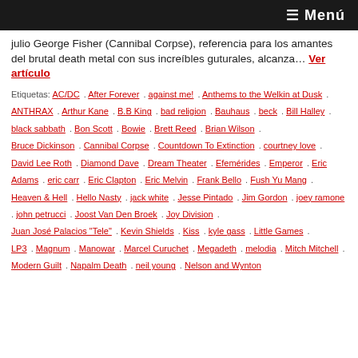≡ Menú
julio George Fisher (Cannibal Corpse), referencia para los amantes del brutal death metal con sus increíbles guturales, alcanza... Ver artículo
Etiquetas: AC/DC . After Forever . against me! . Anthems to the Welkin at Dusk . ANTHRAX . Arthur Kane . B.B King . bad religion . Bauhaus . beck . Bill Halley . black sabbath . Bon Scott . Bowie . Brett Reed . Brian Wilson . Bruce Dickinson . Cannibal Corpse . Countdown To Extinction . courtney love . David Lee Roth . Diamond Dave . Dream Theater . Efemérides . Emperor . Eric Adams . eric carr . Eric Clapton . Eric Melvin . Frank Bello . Fush Yu Mang . Heaven & Hell . Hello Nasty . jack white . Jesse Pintado . Jim Gordon . joey ramone . john petrucci . Joost Van Den Broek . Joy Division . Juan José Palacios "Tele" . Kevin Shields . Kiss . kyle gass . Little Games . LP3 . Magnum . Manowar . Marcel Curuchet . Megadeth . melodia . Mitch Mitchell . Modern Guilt . Napalm Death . neil young . Nelson and Wynton